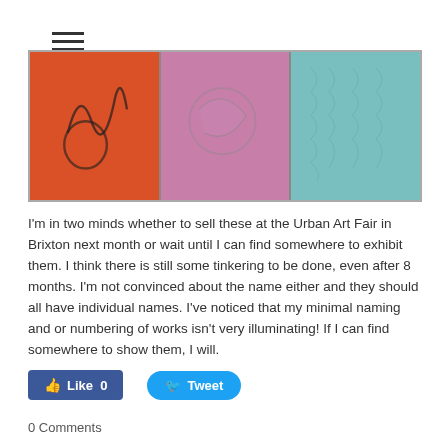[Figure (photo): Three abstract painted panels side by side: orange panel with dark squiggly lines, purple/pink panel with faint marks, teal/light blue panel with textured pattern. Displayed in a thin bordered frame.]
I'm in two minds whether to sell these at the Urban Art Fair in Brixton next month or wait until I can find somewhere to exhibit them. I think there is still some tinkering to be done, even after 8 months. I'm not convinced about the name either and they should all have individual names. I've noticed that my minimal naming and or numbering of works isn't very illuminating! If I can find somewhere to show them, I will.
Like 0   Tweet
0 Comments